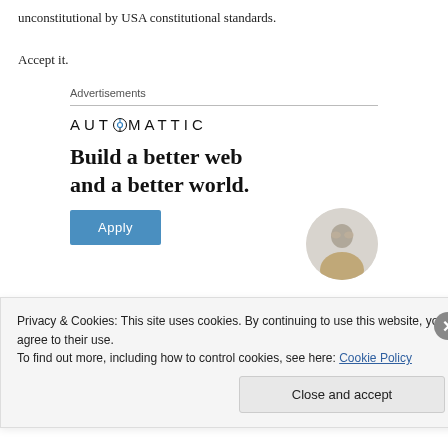unconstitutional by USA constitutional standards.
Accept it.
Advertisements
[Figure (illustration): Automattic advertisement: logo with compass icon, tagline 'Build a better web and a better world.', blue Apply button, and circular photo of a person.]
Privacy & Cookies: This site uses cookies. By continuing to use this website, you agree to their use.
To find out more, including how to control cookies, see here: Cookie Policy